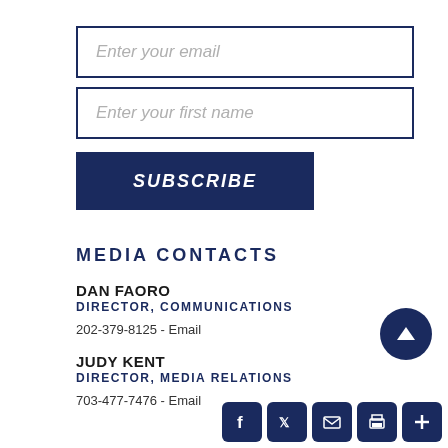Enter your email
Enter your first name
SUBSCRIBE
MEDIA CONTACTS
DAN FAORO
DIRECTOR, COMMUNICATIONS
202-379-8125 - Email
JUDY KENT
DIRECTOR, MEDIA RELATIONS
703-477-7476 - Email
[Figure (infographic): Dark navy circular up-arrow button and a row of social media icon buttons (Facebook, Twitter, Email, Print, Plus) in dark navy squares]